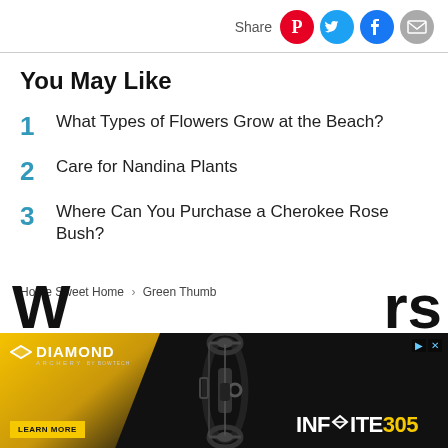Share
You May Like
1  What Types of Flowers Grow at the Beach?
2  Care for Nandina Plants
3  Where Can You Purchase a Cherokee Rose Bush?
Home Sweet Home › Green Thumb
[Figure (infographic): Diamond Archery advertisement banner showing a compound bow with the INFINITE 305 product name and a Learn More button]